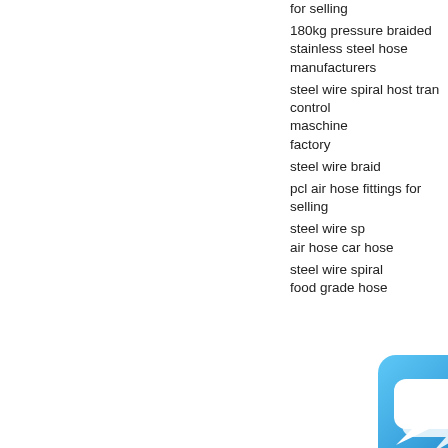for selling
180kg pressure braided stainless steel hose manufacturers
steel wire spiral host transfer control maschine factory
steel wire braid
pcl air hose fittings for selling
steel wire spiral air hose car hose
steel wire spiral food grade hose
[Figure (other): Chat widget overlay with speech bubble icon on blue rounded square background, with X close button]